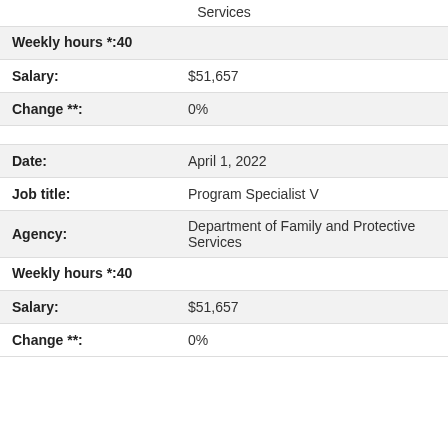Services
| Weekly hours *: | 40 |
| Salary: | $51,657 |
| Change **: | 0% |
| Date: | April 1, 2022 |
| Job title: | Program Specialist V |
| Agency: | Department of Family and Protective Services |
| Weekly hours *: | 40 |
| Salary: | $51,657 |
| Change **: | 0% |